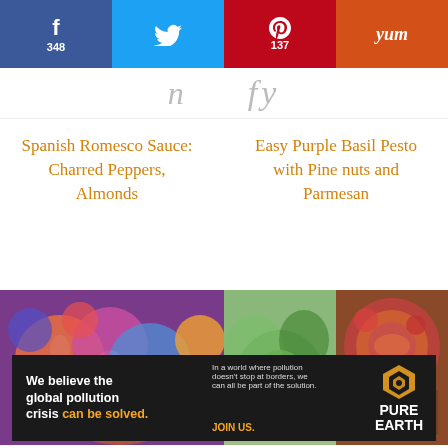[Figure (screenshot): Social share bar with Facebook (348), Twitter, Pinterest (137), and Yummly buttons]
[Figure (screenshot): Decorative script header text (partially visible cursive text)]
Spanish Romesco Sauce: Charred Peppers, Almonds
Easy Purple Basil Pesto with Pine nuts and Parmesan
[Figure (photo): Colorful Indian deity figurines/statues crowded together]
[Figure (photo): Food photos showing legumes/beans with herbs and a dish with tomatoes]
[Figure (infographic): Pure Earth advertisement: 'We believe the global pollution crisis can be solved. In a world where pollution doesn't stop at borders, we can all be part of the solution. JOIN US.' with Pure Earth logo]